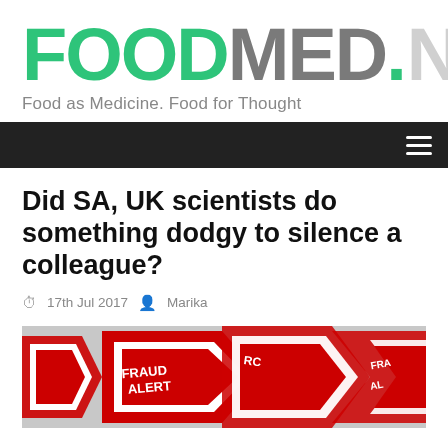[Figure (logo): FoodMed.net logo — FOOD in green, MED in grey, .NET in light grey, with tagline 'Food as Medicine. Food for Thought']
≡
Did SA, UK scientists do something dodgy to silence a colleague?
17th Jul 2017  Marika
[Figure (photo): Multiple red and white triangular fraud alert warning signs overlapping, with text FRAUD ALERT visible on them]